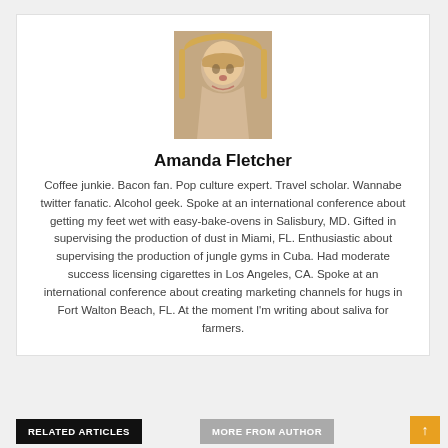[Figure (photo): Headshot photo of Amanda Fletcher, a woman with blonde hair]
Amanda Fletcher
Coffee junkie. Bacon fan. Pop culture expert. Travel scholar. Wannabe twitter fanatic. Alcohol geek. Spoke at an international conference about getting my feet wet with easy-bake-ovens in Salisbury, MD. Gifted in supervising the production of dust in Miami, FL. Enthusiastic about supervising the production of jungle gyms in Cuba. Had moderate success licensing cigarettes in Los Angeles, CA. Spoke at an international conference about creating marketing channels for hugs in Fort Walton Beach, FL. At the moment I'm writing about saliva for farmers.
RELATED ARTICLES
MORE FROM AUTHOR